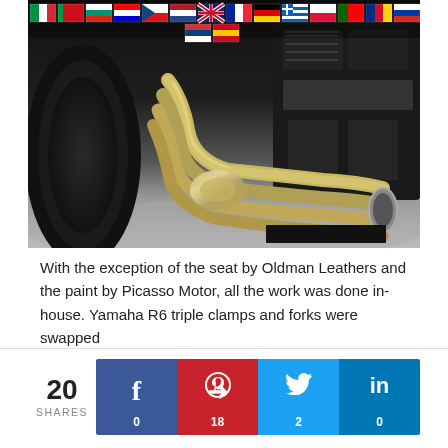[Figure (photo): Close-up photo of a motorcycle engine and exhaust pipes. Multiple country flags are overlaid at the top of the image. The exhaust pipes are polished metal/titanium colored, and the engine is dark/black. The background shows a studio floor.]
With the exception of the seat by Oldman Leathers and the paint by Picasso Motor, all the work was done in-house. Yamaha R6 triple clamps and forks were swapped
[Figure (infographic): Social sharing widget showing 20 total shares. Four buttons: Facebook (f) with 0 shares in dark blue, Pinterest (p) with 18 shares in red, Twitter (bird) with 2 shares in light blue, LinkedIn (in) with 0 shares in dark blue.]